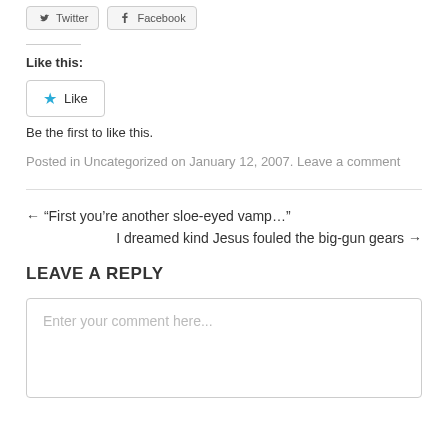[Figure (other): Two social share buttons: Twitter and Facebook]
Like this:
[Figure (other): Like button with star icon]
Be the first to like this.
Posted in Uncategorized on January 12, 2007. Leave a comment
← "First you're another sloe-eyed vamp…"
I dreamed kind Jesus fouled the big-gun gears →
LEAVE A REPLY
Enter your comment here...